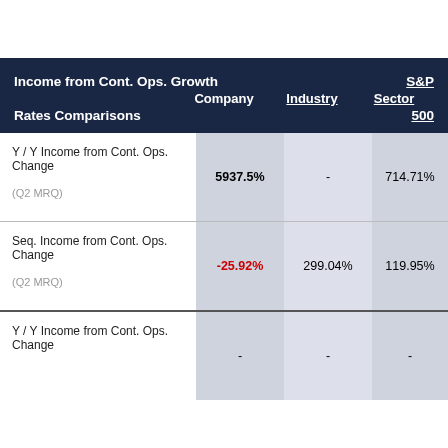| Income from Cont. Ops. Growth Rates Comparisons | Company | Industry | Sector | S&P 500 |
| --- | --- | --- | --- | --- |
| Y / Y Income from Cont. Ops. Change (Q2 MRQ) | 5937.5% | - | 714.71% | 2.81% |
| Seq. Income from Cont. Ops. Change (Q2 MRQ) | -25.92% | 299.04% | 119.95% | 6.61% |
| Y / Y Income from Cont. Ops. Change | - | - | - | 31.47% |